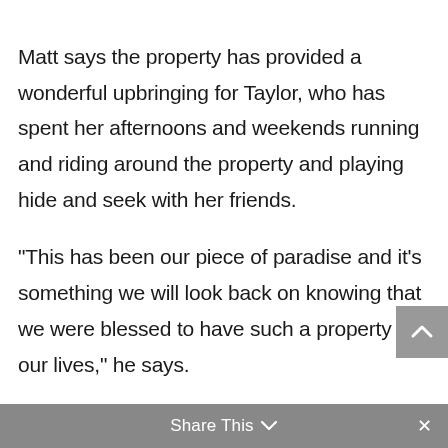Matt says the property has provided a wonderful upbringing for Taylor, who has spent her afternoons and weekends running and riding around the property and playing hide and seek with her friends.
“This has been our piece of paradise and it’s something we will look back on knowing that we were blessed to have such a property in our lives,” he says.
“It has also been great for Karen who still worked for Virgin Group for 18 months after we moved here.
Share This ∨